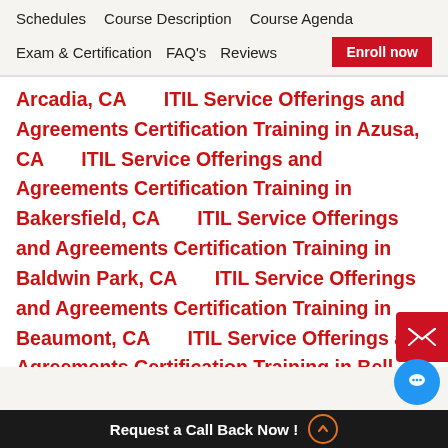Schedules   Course Description   Course Agenda
Exam & Certification   FAQ's   Reviews   Enroll now
Arcadia, CA      ITIL Service Offerings and Agreements Certification Training in Azusa, CA      ITIL Service Offerings and Agreements Certification Training in Bakersfield, CA      ITIL Service Offerings and Agreements Certification Training in Baldwin Park, CA      ITIL Service Offerings and Agreements Certification Training in Beaumont, CA      ITIL Service Offerings and Agreements Certification Training in Bell Gardens, CA      ITIL Service Offerings and Agreements Certification Training in Bellflower, CA      ITIL Service Offerings and Agreements Certification Training in Berkeley, CA      ITIL Service Offerings and Agreements Certification Training in Brea, CA      ITIL Service Offerings and Agreements Certification Training in Brentwood, CA      ITIL Service
Request a Call Back Now !